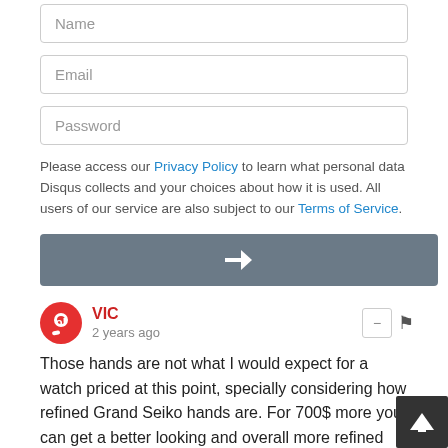Name
Email
Password
Please access our Privacy Policy to learn what personal data Disqus collects and your choices about how it is used. All users of our service are also subject to our Terms of Service.
[Figure (screenshot): Gray submit button with white right arrow icon]
VIC
2 years ago
Those hands are not what I would expect for a watch priced at this point, specially considering how refined Grand Seiko hands are. For 700$ more you can get a better looking and overall more refined Grand Seiko. The pricing of this watch is way off
1 ^ | v Reply
Pedro Lambareiro